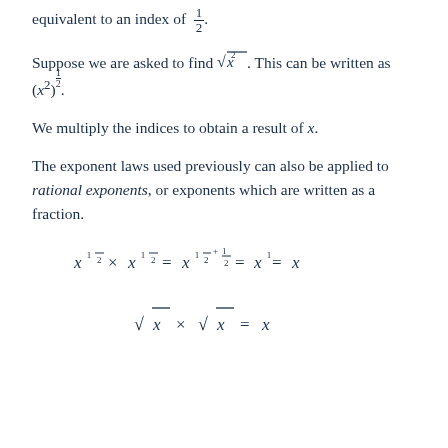equivalent to an index of 1/2.
Suppose we are asked to find √(x²). This can be written as (x²)^(1/2).
We multiply the indices to obtain a result of x.
The exponent laws used previously can also be applied to rational exponents, or exponents which are written as a fraction.